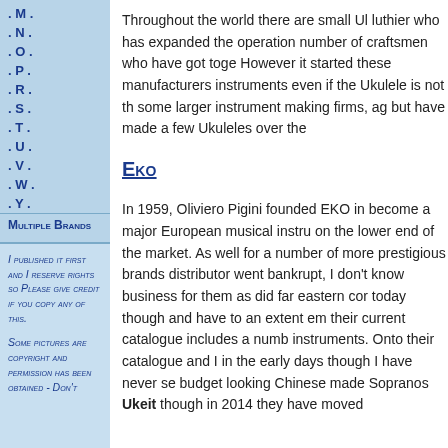. M .
. N .
. O .
. P .
. R .
. S .
. T .
. U .
. V .
. W .
. Y .
Multiple Brands
I published it first and I reserve rights so Please give credit if you copy any of this.
Some pictures are copyright and permission has been obtained - Don't
Throughout the world there are small Ul luthier who has expanded the operation number of craftsmen who have got toge However it started these manufacturers instruments even if the Ukulele is not th some larger instrument making firms, ag but have made a few Ukuleles over the
Eko
In 1959, Oliviero Pigini founded EKO in become a major European musical instru on the lower end of the market. As well for a number of more prestigious brands distributor went bankrupt, I don't know business for them as did far eastern cor today though and have to an extent em their current catalogue includes a numb instruments. Onto their catalogue and I in the early days though I have never se budget looking Chinese made Sopranos Ukeit though in 2014 they have moved